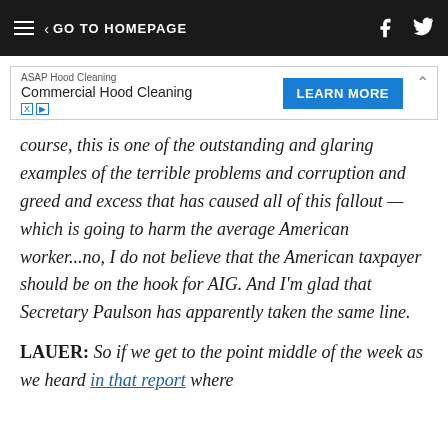GO TO HOMEPAGE
[Figure (other): Advertisement banner: ASAP Hood Cleaning - Commercial Hood Cleaning with LEARN MORE button]
course, this is one of the outstanding and glaring examples of the terrible problems and corruption and greed and excess that has caused all of this fallout — which is going to harm the average American worker...no, I do not believe that the American taxpayer should be on the hook for AIG. And I'm glad that Secretary Paulson has apparently taken the same line.
LAUER: So if we get to the point middle of the week as we heard in that report where